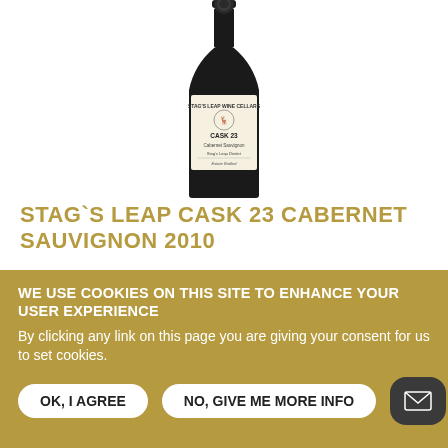[Figure (photo): Wine bottle photo: Stag's Leap Wine Cellars Cask 23 Cabernet Sauvignon, dark bottle with cream label showing a stag logo, centered on white background]
STAG`S LEAP CASK 23 CABERNET SAUVIGNON 2010
WE USE COOKIES ON THIS SITE TO ENHANCE YOUR USER EXPERIENCE
By clicking any link on this page you are giving your consent for us to set cookies.
OK, I AGREE | NO, GIVE ME MORE INFO